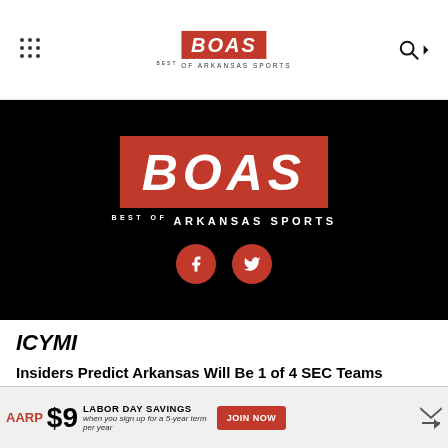BOAS BEST OF ARKANSAS SPORTS
[Figure (logo): BOAS Best of Arkansas Sports logo with red background, white bold italic text, and social media buttons (Facebook and Twitter) on black background]
ICYMI
Insiders Predict Arkansas Will Be 1 of 4 SEC Teams Needed to Block Entry of Texas and Oklahoma
After 35 Y... Become a...
[Figure (infographic): AARP Labor Day Savings advertisement banner: $9 per year when you sign up for a 5-year term, with JOIN NOW button]